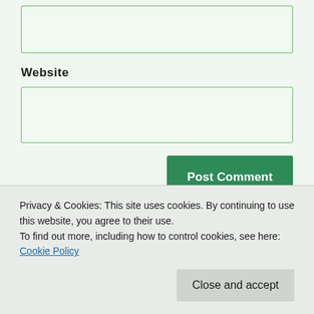[Figure (other): Empty green-tinted input text box at top of page]
Website
[Figure (other): Empty green-tinted input text box for website URL]
Post Comment
Notify me of new comments via email.
Notify me of new posts via email.
Privacy & Cookies: This site uses cookies. By continuing to use this website, you agree to their use.
To find out more, including how to control cookies, see here: Cookie Policy
Close and accept